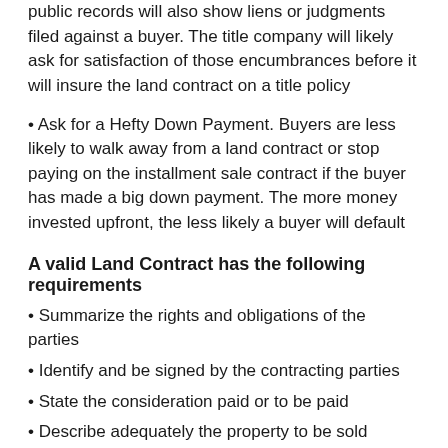public records will also show liens or judgments filed against a buyer. The title company will likely ask for satisfaction of those encumbrances before it will insure the land contract on a title policy
• Ask for a Hefty Down Payment. Buyers are less likely to walk away from a land contract or stop paying on the installment sale contract if the buyer has made a big down payment. The more money invested upfront, the less likely a buyer will default
A valid Land Contract has the following requirements
• Summarize the rights and obligations of the parties
• Identify and be signed by the contracting parties
• State the consideration paid or to be paid
• Describe adequately the property to be sold
Obligations and Rights of the Parties
Expectations from each party should be specifically